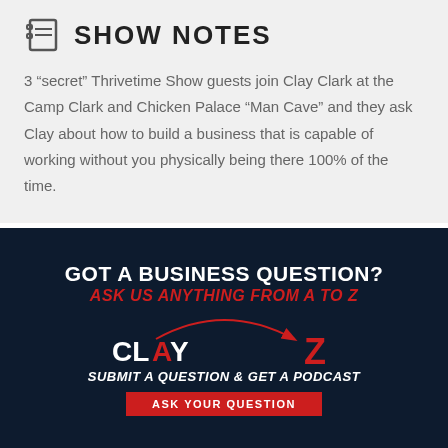SHOW NOTES
3 “secret” Thrivetime Show guests join Clay Clark at the Camp Clark and Chicken Palace “Man Cave” and they ask Clay about how to build a business that is capable of working without you physically being there 100% of the time.
[Figure (infographic): Dark navy banner with text: GOT A BUSINESS QUESTION? / ASK US ANYTHING FROM A TO Z / CLAY ... Z with a red arc arrow from CLAY to Z / SUBMIT A QUESTION & GET A PODCAST / ASK YOUR QUESTION button]